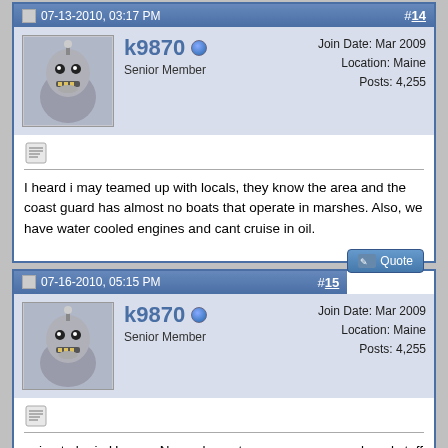Post #14 — 07-13-2010, 03:17 PM
k9870 — Senior Member — Join Date: Mar 2009 — Location: Maine — Posts: 4,255
I heard i may teamed up with locals, they know the area and the coast guard has almost no boats that operate in marshes. Also, we have water cooled engines and cant cruise in oil.
Post #15 — 07-16-2010, 05:15 PM
k9870 — Senior Member — Join Date: Mar 2009 — Location: Maine — Posts: 4,255
going to be in Houma. New orleans to process paperwork and stuff then cruising over there in a few days.